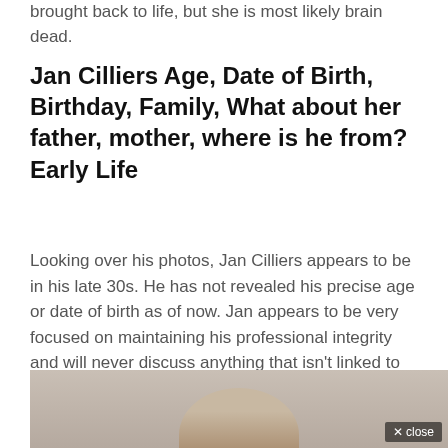brought back to life, but she is most likely brain dead.
Jan Cilliers Age, Date of Birth, Birthday, Family, What about her father, mother, where is he from? Early Life
Looking over his photos, Jan Cilliers appears to be in his late 30s. He has not revealed his precise age or date of birth as of now. Jan appears to be very focused on maintaining his professional integrity and will never discuss anything that isn't linked to his field.
[Figure (photo): Partial photo of a person with reddish-brown hair, top of head visible, with a close button in the bottom right corner.]